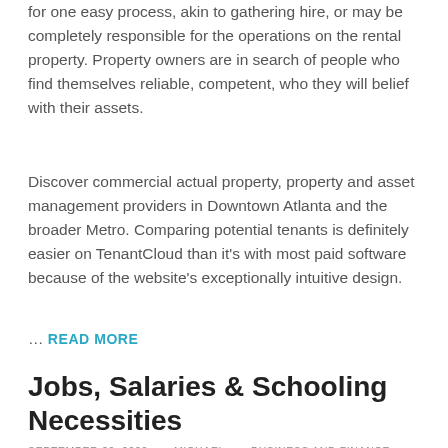for one easy process, akin to gathering hire, or may be completely responsible for the operations on the rental property. Property owners are in search of people who find themselves reliable, competent, who they will belief with their assets.
Discover commercial actual property, property and asset management providers in Downtown Atlanta and the broader Metro. Comparing potential tenants is definitely easier on TenantCloud than it’s with most paid software because of the website’s exceptionally intuitive design.
… READ MORE
Jobs, Salaries & Schooling Necessities
SEPTEMBER 20, 2020 • MICHAEL • BUSINESS AND FINANCE